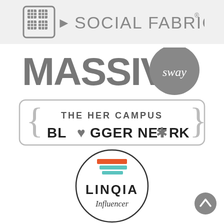[Figure (logo): Social Fabric logo: grid icon followed by text 'SOCIAL FABRIC' with registered trademark symbol, on a light gray banner background]
[Figure (logo): Massive Sway logo: large gray bold text 'MASSIVE' with 'sway' in a dark gray circle]
[Figure (logo): The Her Campus Blogger Network logo: curly braces enclosing text 'THE HER CAMPUS' on top and 'BLOGGER NETWORK' in bold black below]
[Figure (logo): Linqia Influencer logo: circular badge with orange/teal stripe icon at top, 'LINQIA' in bold text and 'Influencer' in italic below]
[Figure (other): Gray circular scroll-to-top button with upward chevron arrow icon, bottom right corner]